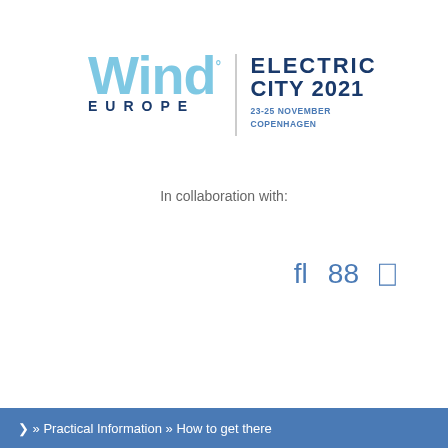[Figure (logo): WindEurope Electric City 2021 logo. Left side: 'Wind' in large light blue bold text with superscript dot, 'EUROPE' in dark navy spaced capitals below. Right side separated by vertical line: 'ELECTRIC CITY 2021' in dark navy bold, '23-25 NOVEMBER COPENHAGEN' in smaller blue text below.]
In collaboration with:
[Figure (other): Three small icons in blue: a stylized 'fl' ligature icon, a grid/menu icon (88), and a square bracket icon.]
❯ » Practical Information » How to get there